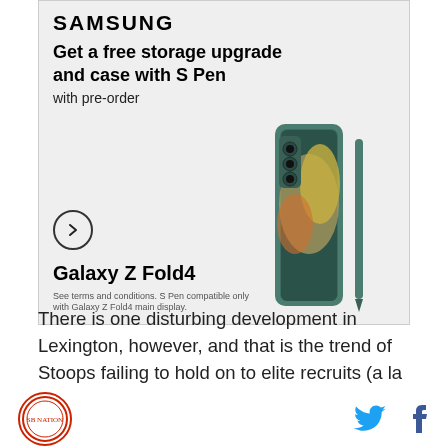[Figure (infographic): Samsung Galaxy Z Fold4 advertisement banner. Samsung logo at top, headline 'Get a free storage upgrade and case with S Pen', subtext 'with pre-order', arrow button, product name 'Galaxy Z Fold4', fine print 'See terms and conditions. S Pen compatible only with Galaxy Z Fold4 main display.', image of teal Galaxy Z Fold4 phone with S Pen.]
There is one disturbing development in Lexington, however, and that is the trend of Stoops failing to hold on to elite recruits (a la Mac Jones.)
Stoops not stressed about recent Kentucky
Logo icon, Twitter icon, Facebook icon